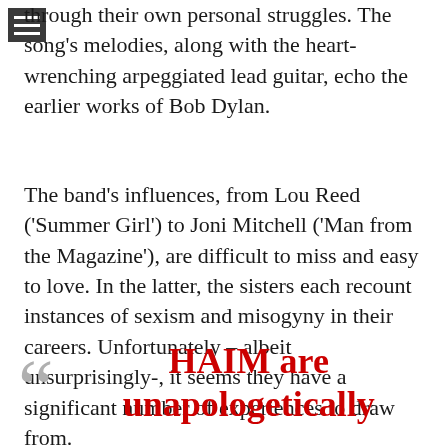through their own personal struggles. The song's melodies, along with the heart-wrenching arpeggiated lead guitar, echo the earlier works of Bob Dylan.
The band's influences, from Lou Reed (‘Summer Girl’) to Joni Mitchell (‘Man from the Magazine’), are difficult to miss and easy to love. In the latter, the sisters each recount instances of sexism and misogyny in their careers. Unfortunately – albeit unsurprisingly-, it seems they have a significant number of experiences to draw from.
“HAIM are unapologetically